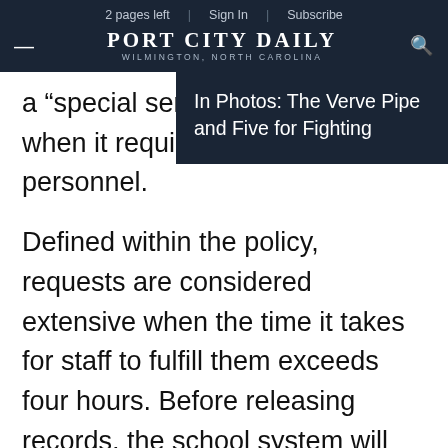2 pages left | Sign In | Subscribe
PORT CITY DAILY WILMINGTON, NORTH CAROLINA
a “special service charge” when it requires exten… personnel.
In Photos: The Verve Pipe and Five for Fighting
Defined within the policy, requests are considered extensive when the time it takes for staff to fulfill them exceeds four hours. Before releasing records, the school system will give an estimate of any special service charges so the requester has the choice between payment or narrowing their scope.